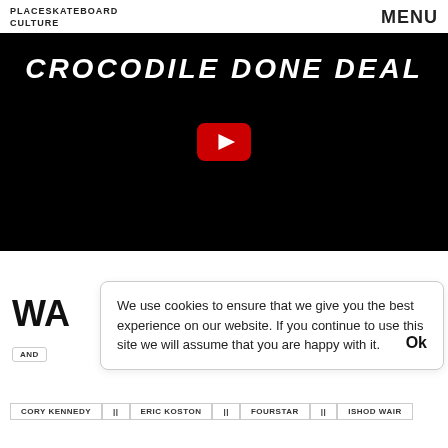PLACESKATEBOARD CULTURE | MENU
[Figure (screenshot): YouTube video thumbnail with black background showing italic white text 'CROCODILE DONE DEAL' and a YouTube play button in the center]
WA
We use cookies to ensure that we give you the best experience on our website. If you continue to use this site we will assume that you are happy with it. Ok
AND
CORY KENNEDY || ERIC KOSTON || FOURSTAR || ISHOD WAIR